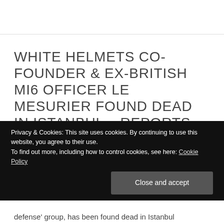WHITE HELMETS CO-FOUNDER & EX-BRITISH MI6 OFFICER LE MESURIER FOUND DEAD IN ISTANBUL – REPORTS
November 11, 2019   1 Comment
Privacy & Cookies: This site uses cookies. By continuing to use this website, you agree to their use.
To find out more, including how to control cookies, see here: Cookie Policy
Close and accept
defense' group, has been found dead in Istanbul